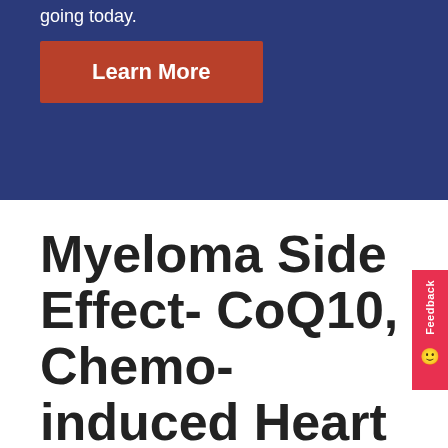going today.
[Figure (other): Red 'Learn More' button on dark blue banner background]
Myeloma Side Effect- CoQ10, Chemo-induced Heart Damage
[Figure (other): Red vertical Feedback tab on right side with smiley icon]